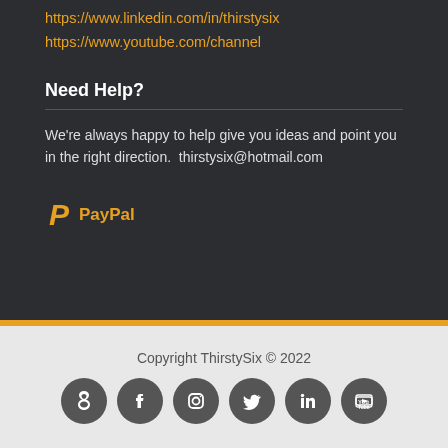https://www.linkedin.com/in/thirstysix
https://www.youtube.com/channel
Need Help?
We're always happy to help give you ideas and point you in the right direction.  thirstysix@hotmail.com
[Figure (logo): PayPal logo with orange P icon and PayPal text]
Copyright ThirstySix © 2022
[Figure (infographic): Row of 6 social media icon circles: Drupal, Facebook, Instagram, Twitter, LinkedIn, YouTube]